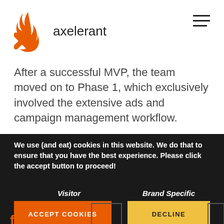[Figure (logo): Axelerant logo: orange flame/X icon with text 'axelerant' in dark sans-serif]
After a successful MVP, the team moved on to Phase 1, which exclusively involved the extensive ads and campaign management workflow.
We use (and eat) cookies in this website. We do that to ensure that you have the best experience. Please click the accept button to proceed!
Visitor
Brand Specific
ACCEPT COOKIES
DECLINE